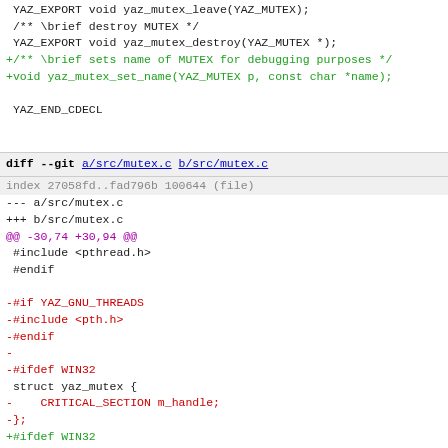[Figure (screenshot): A code diff view showing changes to mutex-related C header and source files. The top portion shows additions in green to a header file, and the bottom shows a git diff of src/mutex.c with removals in red and additions in green.]